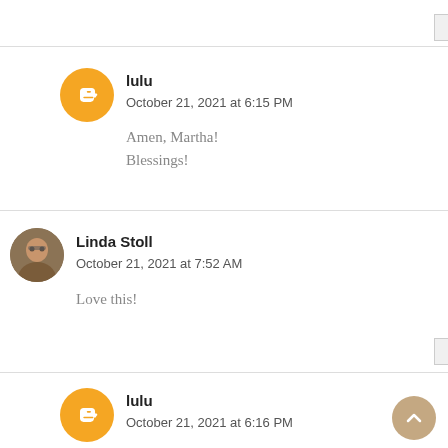Reply
[Figure (illustration): Orange Blogger avatar circle icon with white blogger B logo]
lulu
October 21, 2021 at 6:15 PM
Amen, Martha!
Blessings!
[Figure (photo): Circular photo avatar of Linda Stoll, a woman wearing glasses]
Linda Stoll
October 21, 2021 at 7:52 AM
Love this!
Reply
[Figure (illustration): Orange Blogger avatar circle icon with white blogger B logo]
lulu
October 21, 2021 at 6:16 PM